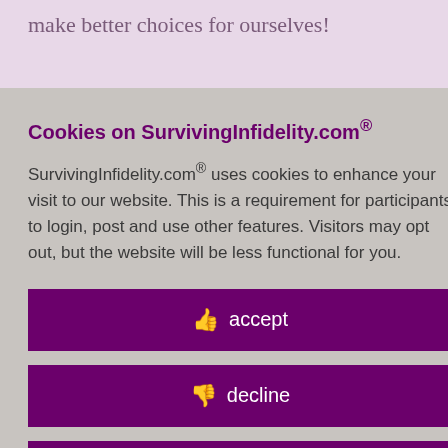make better choices for ourselves!
reflection otions. I found id, a d Medical ave added it to e, and will case anyone
rage
t really
Cookies on SurvivingInfidelity.com® SurvivingInfidelity.com® uses cookies to enhance your visit to our website. This is a requirement for participants to login, post and use other features. Visitors may opt out, but the website will be less functional for you.
accept
decline
about cookies
Policy